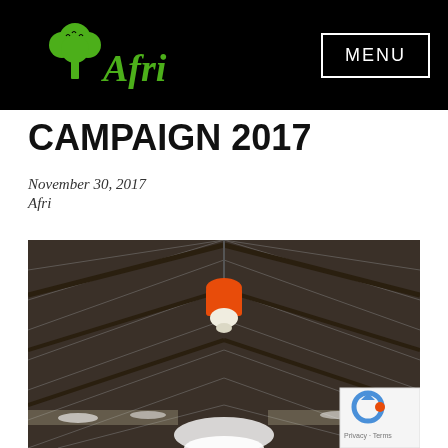Afri | MENU
CAMPAIGN 2017
November 30, 2017
Afri
[Figure (photo): Interior of a corrugated metal roof building with an orange and white solar lamp hanging from the ceiling beams; bright light visible at the bottom of the image.]